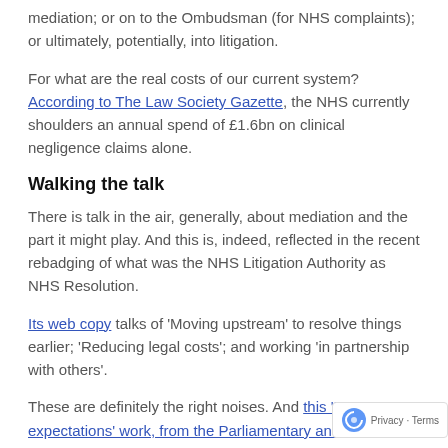mediation; or on to the Ombudsman (for NHS complaints); or ultimately, potentially, into litigation.
For what are the real costs of our current system? According to The Law Society Gazette, the NHS currently shoulders an annual spend of £1.6bn on clinical negligence claims alone.
Walking the talk
There is talk in the air, generally, about mediation and the part it might play. And this is, indeed, reflected in the recent rebadging of what was the NHS Litigation Authority as NHS Resolution.
Its web copy talks of 'Moving upstream' to resolve things earlier; 'Reducing legal costs'; and working 'in partnership with others'.
These are definitely the right noises. And this 'My expectations' work, from the Parliamentary and Health Service Ombudsman (PHSO), for instance, nicely captures 'what good looks like from the user perspective'.